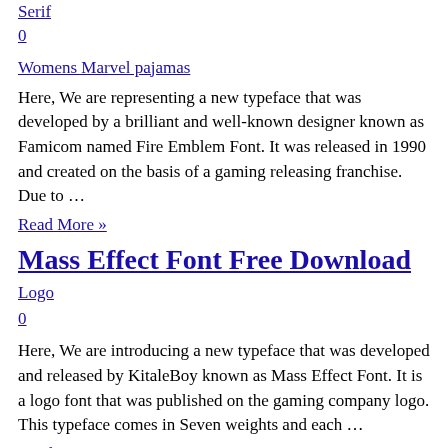Serif
0
Womens Marvel pajamas
Here, We are representing a new typeface that was developed by a brilliant and well-known designer known as Famicom named Fire Emblem Font. It was released in 1990 and created on the basis of a gaming releasing franchise. Due to …
Read More »
Mass Effect Font Free Download
Logo
0
Here, We are introducing a new typeface that was developed and released by KitaleBoy known as Mass Effect Font. It is a logo font that was published on the gaming company logo. This typeface comes in Seven weights and each …
Read More »
VHS Font Free Download